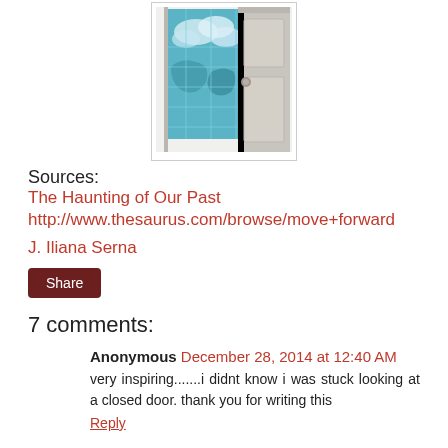[Figure (illustration): An open door revealing a blue world map / sky imagery behind it, rendered as a photographic illustration.]
Sources:
The Haunting of Our Past
http://www.thesaurus.com/browse/move+forward
J. Iliana Serna
Share
7 comments:
Anonymous December 28, 2014 at 12:40 AM
very inspiring.......i didnt know i was stuck looking at a closed door. thank you for writing this
Reply